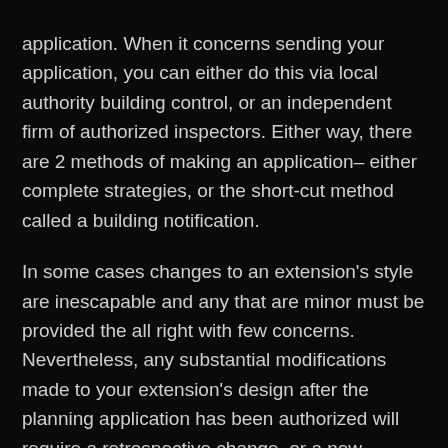application. When it concerns sending your application, you can either do this via local authority building control, or an independent firm of authorized inspectors. Either way, there are 2 methods of making an application– either complete strategies, or the short-cut method called a building notification.
In some cases changes to an extension's style are inescapable and any that are minor must be provided the all right with few concerns. Nevertheless, any substantial modifications made to your extension's design after the planning application has been authorized will require a retrospective change, or a new application entirely. Discover more in our planning authorization guide.
Requirements end up being a lot more requiring for extensions of 3 storeys or more. Thought about as part of the newly enlarged home, this might involve fitting special fire